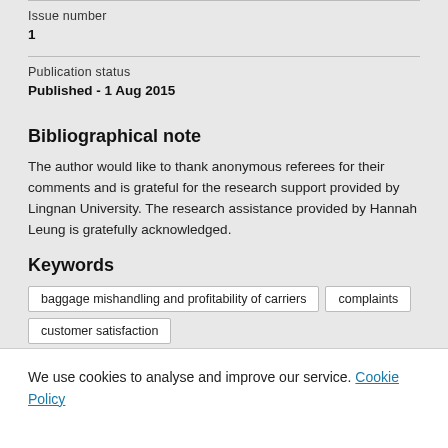Issue number
1
Publication status
Published - 1 Aug 2015
Bibliographical note
The author would like to thank anonymous referees for their comments and is grateful for the research support provided by Lingnan University. The research assistance provided by Hannah Leung is gratefully acknowledged.
Keywords
baggage mishandling and profitability of carriers
complaints
customer satisfaction
We use cookies to analyse and improve our service. Cookie Policy